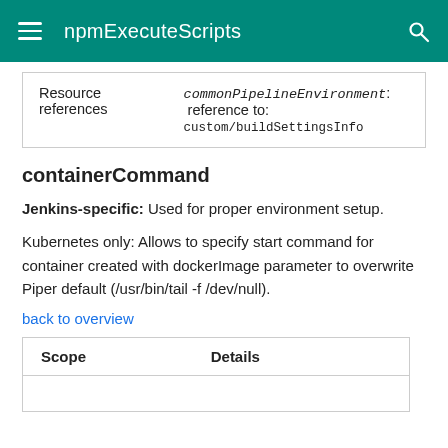npmExecuteScripts
| Resource references | commonPipelineEnvironment: reference to:
custom/buildSettingsInfo |
containerCommand
Jenkins-specific: Used for proper environment setup.
Kubernetes only: Allows to specify start command for container created with dockerImage parameter to overwrite Piper default (/usr/bin/tail -f /dev/null).
back to overview
| Scope | Details |
| --- | --- |
|  |  |